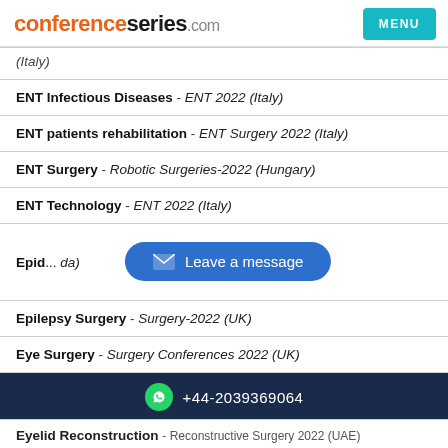conferenceseries.com MENU
(Italy)
ENT Infectious Diseases - ENT 2022 (Italy)
ENT patients rehabilitation - ENT Surgery 2022 (Italy)
ENT Surgery - Robotic Surgeries-2022 (Hungary)
ENT Technology - ENT 2022 (Italy)
Epid... (Canada)
Epilepsy Surgery - Surgery-2022 (UK)
Eye Surgery - Surgery Conferences 2022 (UK)
+44-2039369064
Eyelid Reconstruction - Reconstructive Surgery 2022 (UAE)